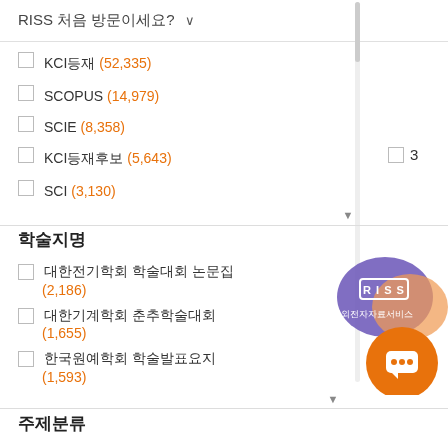RISS 처음 방문이세요? ∨
KCI등재 (52,335)
SCOPUS (14,979)
SCIE (8,358)
KCI등재후보 (5,643)
SCI (3,130)
학술지명 ▲
대한전기학회 학술대회 논문집 (2,186)
대한기계학회 춘추학술대회 (1,655)
한국원예학회 학술발표요지 (1,593)
주제분류 ▲
[Figure (logo): RISS 해외전자자료서비스 logo with chat bubble icon overlay]